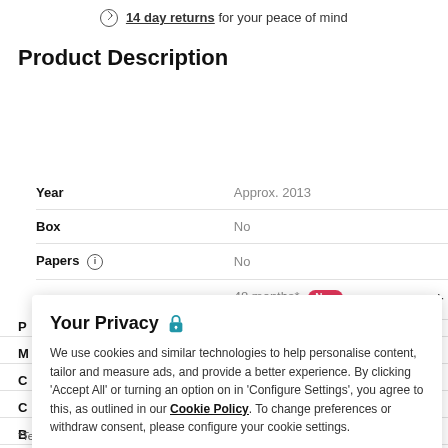14 day returns for your peace of mind
Product Description
| Field | Value |
| --- | --- |
| Year | Approx. 2013 |
| Box | No |
| Papers | No |
| Watchfinder warranty | 48 months* New |
Your Privacy
We use cookies and similar technologies to help personalise content, tailor and measure ads, and provide a better experience. By clicking 'Accept All' or turning an option on in 'Configure Settings', you agree to this, as outlined in our Cookie Policy. To change preferences or withdraw consent, please configure your cookie settings.
Configure Settings
Accept All
*Terms & Conditions apply